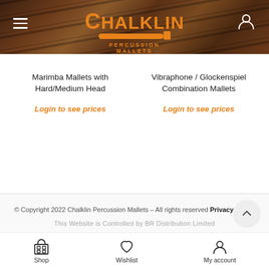[Figure (screenshot): Chalklin Percussion Mallets website header banner with wooden marimba bars background, hamburger menu icon on left, user icon on right, orange Chalklin Percussion Mallets logo in center]
Marimba Mallets with Hard/Medium Head
Login to see prices
Vibraphone / Glockenspiel Combination Mallets
Login to see prices
© Copyright 2022 Chalklin Percussion Mallets - All rights reserved Privacy Policy
This Website is Controlled by BR Distribution Limited
[Figure (infographic): Bottom navigation bar with Shop, Wishlist, and My account icons]